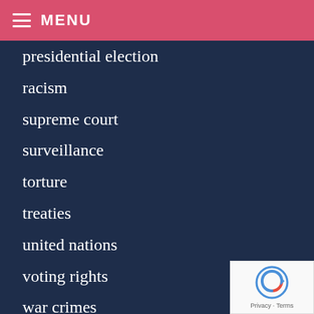MENU
presidential election
racism
supreme court
surveillance
torture
treaties
united nations
voting rights
war crimes
war on terror
whistleblowers